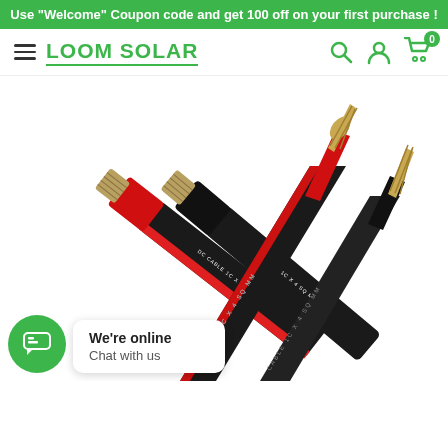Use "Welcome" Coupon code and get 100 off on your first purchase !
LOOM SOLAR
[Figure (photo): Two solar DC cables (1C x 4 SQ MM), one with red insulation stripe and one plain black, showing exposed copper strands at the top ends, angled diagonally on a white background.]
We're online
Chat with us